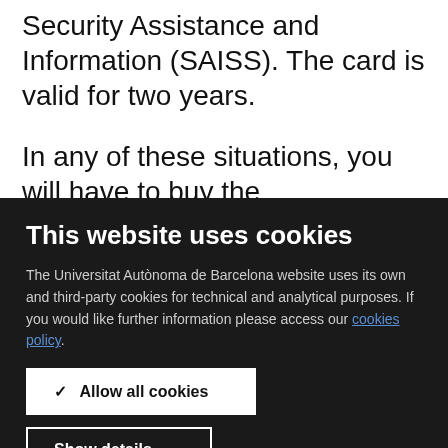Security Assistance and Information (SAISS). The card is valid for two years.
In any of these situations, you will have to buy the complementary insurance for student mobility
This website uses cookies
The Universitat Autònoma de Barcelona website uses its own and third-party cookies for technical and analytical purposes. If you would like further information please access our cookies policy.
✓ Allow all cookies
Show details